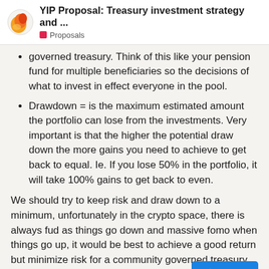YIP Proposal: Treasury investment strategy and ... | Proposals
governed treasury. Think of this like your pension fund for multiple beneficiaries so the decisions of what to invest in effect everyone in the pool.
Drawdown = is the maximum estimated amount the portfolio can lose from the investments. Very important is that the higher the potential draw down the more gains you need to achieve to get back to equal. Ie. If you lose 50% in the portfolio, it will take 100% gains to get back to even.
We should try to keep risk and draw down to a minimum, unfortunately in the crypto space, there is always fud as things go down and massive fomo when things go up, it would be best to achieve a good return but minimize risk for a community governed treasury. You can do whatever you want with your portfolio.
Second Step is Diversification:
Don't have all your assets in one item. Ie.